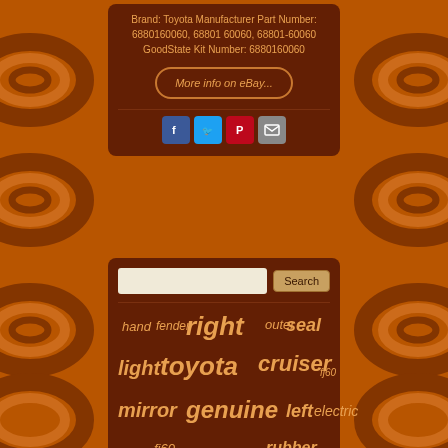Brand: Toyota Manufacturer Part Number: 6880160060, 68801 60060, 68801-60060 GoodState Kit Number: 6880160060
[Figure (screenshot): Button linking to eBay listing reading 'More info on eBay...' with rounded rectangle border]
[Figure (infographic): Social media share icons: Facebook (blue), Twitter (light blue), Pinterest (red), Email (grey)]
[Figure (infographic): Search bar with text input and Search button]
right seal hand fender outer light toyota cruiser fj60 mirror genuine left electric rubber
fj60 rubber